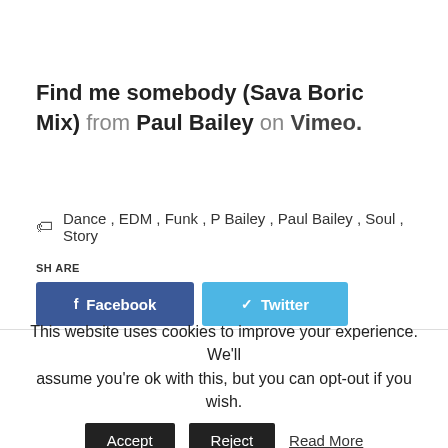Find me somebody (Sava Boric Mix) from Paul Bailey on Vimeo.
Dance, EDM, Funk, P Bailey, Paul Bailey, Soul, Story
SHARE
Facebook
Twitter
Pinterest
Linkedin
This website uses cookies to improve your experience. We'll assume you're ok with this, but you can opt-out if you wish.
Accept
Reject
Read More